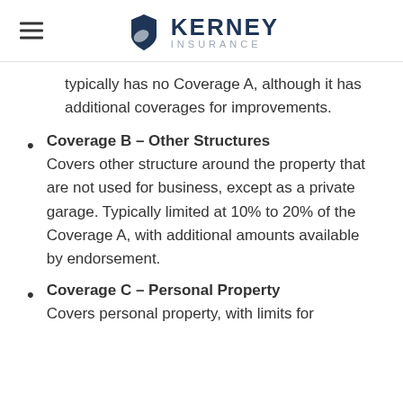KERNEY INSURANCE
typically has no Coverage A, although it has additional coverages for improvements.
Coverage B – Other Structures
Covers other structure around the property that are not used for business, except as a private garage. Typically limited at 10% to 20% of the Coverage A, with additional amounts available by endorsement.
Coverage C – Personal Property
Covers personal property, with limits for